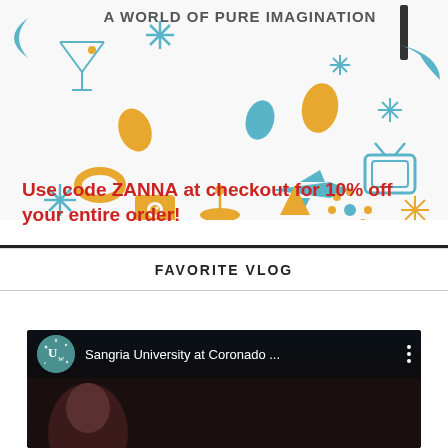[Figure (illustration): Retro mid-century modern style illustration with text 'A WORLD OF PURE IMAGINATION' at top, featuring teal and gold decorative icons: martini glass, starbursts, teardrop shapes, satellite dish, airplane, rocket, atom symbol, crescent moons, TV set, eye camera, and other retro motifs on white background.]
Use code ZANNA at checkout for 10% off your entire order!
FAVORITE VLOG
[Figure (screenshot): YouTube video player thumbnail showing 'Sangria University at Coronado ...' with a teal circular channel icon featuring stylized 'Uw' text, three-dot menu icon, and dark video content area below.]